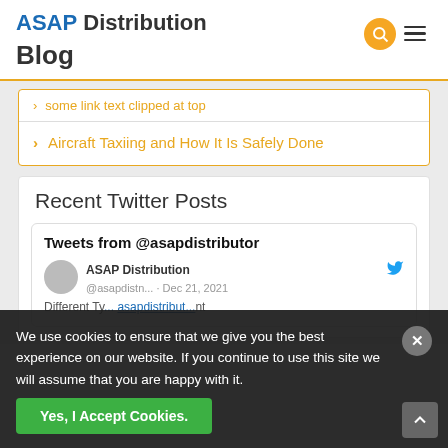ASAP Distribution Blog
Aircraft Taxiing and How It Is Safely Done
Recent Twitter Posts
Tweets from @asapdistributor
ASAP Distribution @asapdistn... · Dec 21, 2021 Different Ty... asapdistribut...nt
We use cookies to ensure that we give you the best experience on our website. If you continue to use this site we will assume that you are happy with it.